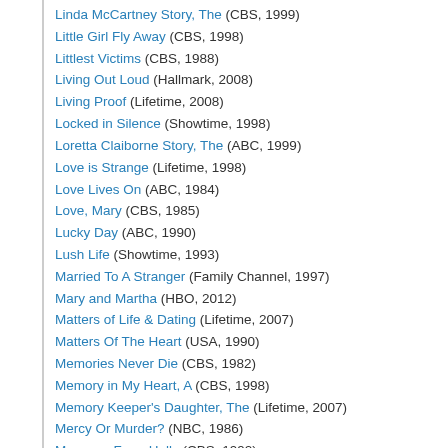Linda McCartney Story, The (CBS, 1999)
Little Girl Fly Away (CBS, 1998)
Littlest Victims (CBS, 1988)
Living Out Loud (Hallmark, 2008)
Living Proof (Lifetime, 2008)
Locked in Silence (Showtime, 1998)
Loretta Claiborne Story, The (ABC, 1999)
Love is Strange (Lifetime, 1998)
Love Lives On (ABC, 1984)
Love, Mary (CBS, 1985)
Lucky Day (ABC, 1990)
Lush Life (Showtime, 1993)
Married To A Stranger (Family Channel, 1997)
Mary and Martha (HBO, 2012)
Matters of Life & Dating (Lifetime, 2007)
Matters Of The Heart (USA, 1990)
Memories Never Die (CBS, 1982)
Memory in My Heart, A (CBS, 1998)
Memory Keeper's Daughter, The (Lifetime, 2007)
Mercy Or Murder? (NBC, 1986)
Message From Holly (CBS, 1992)
Midwives (Lifetime, 2000)
Mile In His Shoes, A (GMC / UP, 2011)
Miles From Nowhere (CBS, 1991)
Miles To Go . . . (CBS, 1986)